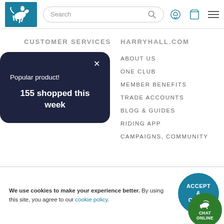[Figure (logo): Harry Hall equestrian logo - white horse and rider jumping on teal background]
CUSTOMER SERVICES
HARRYHALL.COM
MY ACCOUNT
ABOUT US
ONE CLUB
MEMBER BENEFITS
TRADE ACCOUNTS
BLOG & GUIDES
RIDING APP
CAMPAIGNS, COMMUNITY
CONTACT US
Popular product!
155 shopped this week
We use cookies to make your experience better. By using this site, you agree to our cookie policy.